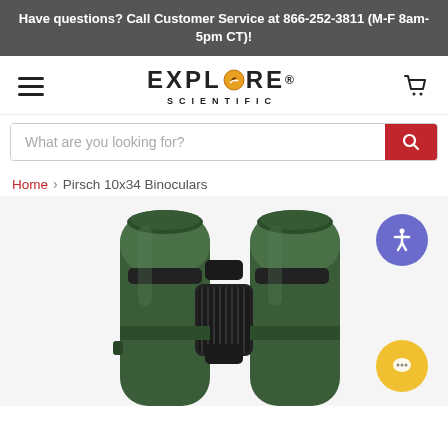Have questions? Call Customer Service at 866-252-3811 (M-F 8am-5pm CT)!
[Figure (logo): Explore Scientific logo with hamburger menu and cart icon]
What are you looking for?
Home > Pirsch 10x34 Binoculars
[Figure (photo): Close-up photo of green Pirsch 10x34 binoculars with black focus wheel, two circular eyepiece barrels visible, on white background. Accessibility and chat widget buttons visible on the right side.]